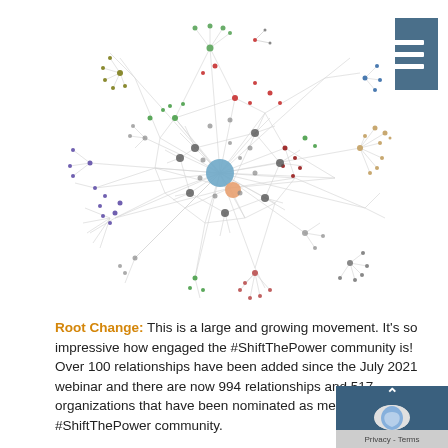[Figure (network-graph): Large network graph showing the #ShiftThePower community relationships. A dense central cluster with colored nodes (blue, red, orange, green, purple, etc.) connected by lines, with smaller satellite clusters branching outward. The network has hundreds of nodes and edges representing 994 relationships and 517 organizations.]
Root Change: This is a large and growing movement. It's so impressive how engaged the #ShiftThePower community is! Over 100 relationships have been added since the July 2021 webinar and there are now 994 relationships and 517 organizations that have been nominated as members of the #ShiftThePower community.
The movement is very well connected at the centre. For example, we found that 30% of the relationships include the top 20 organizations in the eco-system. But there is also a lot of activity on the periphery. There's an opportunity to bring in that periphery